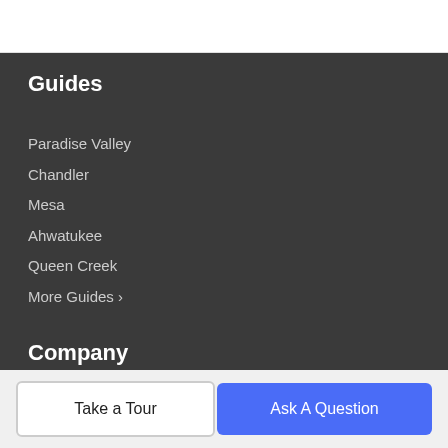Guides
Paradise Valley
Chandler
Mesa
Ahwatukee
Queen Creek
More Guides >
Company
Meet The Team
Our Blog
Contact Us
Take a Tour
Ask A Question